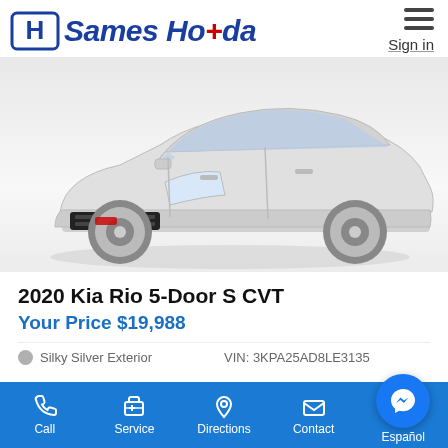Sames Honda — Sign in
[Figure (photo): 2020 Kia Rio 5-Door hatchback in Silky Silver, three-quarter front view on white background]
2020 Kia Rio 5-Door S CVT
Your Price $19,988
Silky Silver Exterior    VIN: 3KPA25AD8LE3135
Call  Service  Directions  Contact  Español